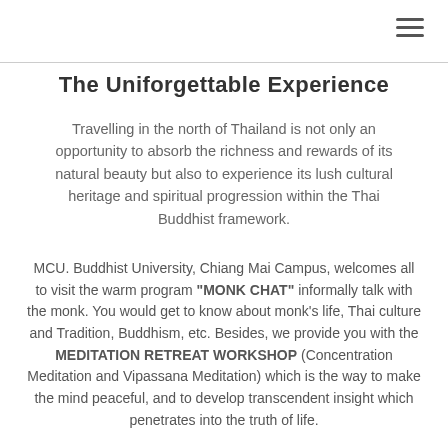The Uniforgettable Experience
Travelling in the north of Thailand is not only an opportunity to absorb the richness and rewards of its natural beauty but also to experience its lush cultural heritage and spiritual progression within the Thai Buddhist framework.
MCU. Buddhist University, Chiang Mai Campus, welcomes all to visit the warm program "MONK CHAT" informally talk with the monk. You would get to know about monk's life, Thai culture and Tradition, Buddhism, etc. Besides, we provide you with the MEDITATION RETREAT WORKSHOP (Concentration Meditation and Vipassana Meditation) which is the way to make the mind peaceful, and to develop transcendent insight which penetrates into the truth of life.